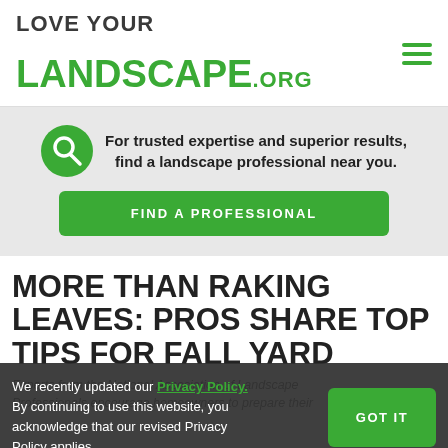LOVE YOUR LANDSCAPE.ORG
For trusted expertise and superior results, find a landscape professional near you.
FIND A PROFESSIONAL
MORE THAN RAKING LEAVES: PROS SHARE TOP TIPS FOR FALL YARD
We recently updated our Privacy Policy. By continuing to use this website, you acknowledge that our revised Privacy Policy applies.
GOT IT
Experts from the National Association of Landscape Professionals encourage homeowners to prepare their